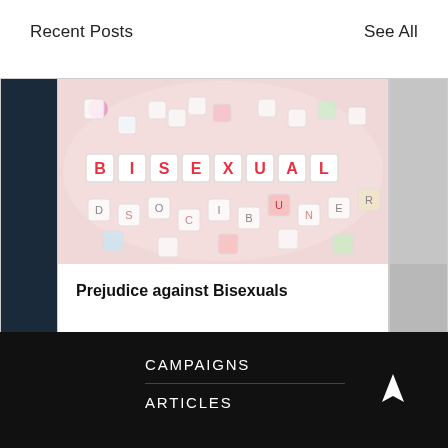Recent Posts
See All
[Figure (photo): Photo of colorful letter beads/tiles spelling out BISEXUAL in red and pink letters, surrounded by scattered letter tiles on a light pink background]
Prejudice against Bisexuals
CAMPAIGNS
ARTICLES